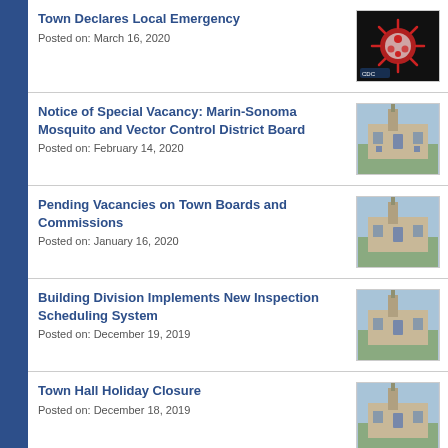Town Declares Local Emergency
Posted on: March 16, 2020
Notice of Special Vacancy: Marin-Sonoma Mosquito and Vector Control District Board
Posted on: February 14, 2020
Pending Vacancies on Town Boards and Commissions
Posted on: January 16, 2020
Building Division Implements New Inspection Scheduling System
Posted on: December 19, 2019
Town Hall Holiday Closure
Posted on: December 18, 2019
Local Appointments List